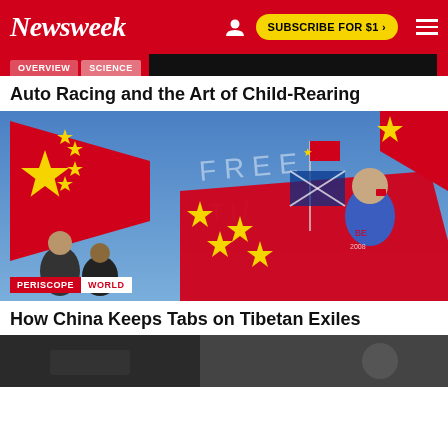Newsweek
Auto Racing and the Art of Child-Rearing
[Figure (photo): People waving Chinese flags at an outdoor event. A woman with a Chinese flag painted on her cheek holds a large red Chinese flag. Sky-written text reading FREE TI... is visible in the blue sky background.]
PERISCOPE WORLD
How China Keeps Tabs on Tibetan Exiles
[Figure (photo): Partial view of another article image at the bottom of the page, cropped.]